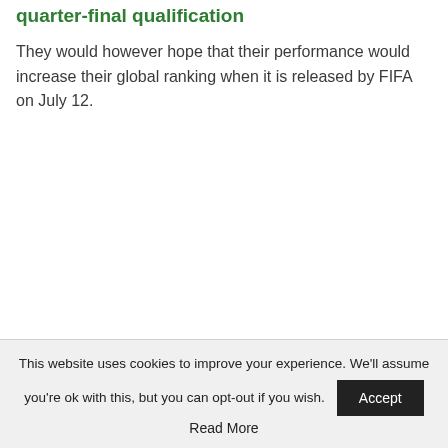quarter-final qualification
They would however hope that their performance would increase their global ranking when it is released by FIFA on July 12.
This website uses cookies to improve your experience. We'll assume you're ok with this, but you can opt-out if you wish. Accept Read More